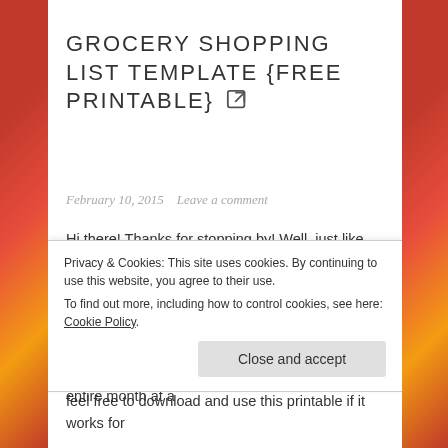GROCERY SHOPPING LIST TEMPLATE {FREE PRINTABLE}
February 10, 2015   Leave a comment
Hi there! Thanks for stopping by! Well, just like my meal plan, I was looking for a good grocery list template. I tried using a bunch of different ones on Pinterest but they either didn't have enough space in the categories, or they just weren't divided into the categories that suited my needs. I have been grocery shopping for an entire month at a
Privacy & Cookies: This site uses cookies. By continuing to use this website, you agree to their use.
To find out more, including how to control cookies, see here: Cookie Policy
feel free to download and use this printable if it works for